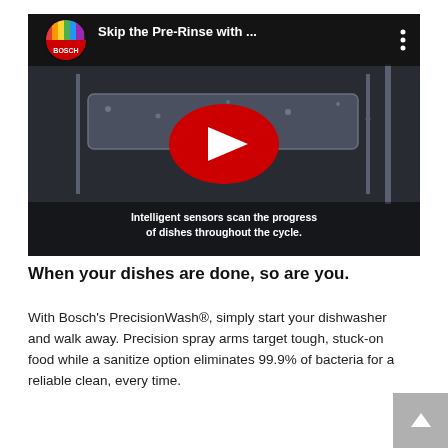[Figure (screenshot): YouTube video thumbnail for 'Skip the Pre-Rinse with ...' by BOSCH. Shows a close-up of a dishwasher rack with water droplets, a large red YouTube play button in the center, and text overlay: 'Intelligent sensors scan the progress of dishes throughout the cycle.' The Bosch channel logo (colored stripes circle with BOSCH text) appears top-left.]
When your dishes are done, so are you.
With Bosch's PrecisionWash®, simply start your dishwasher and walk away. Precision spray arms target tough, stuck-on food while a sanitize option eliminates 99.9% of bacteria for a reliable clean, every time.